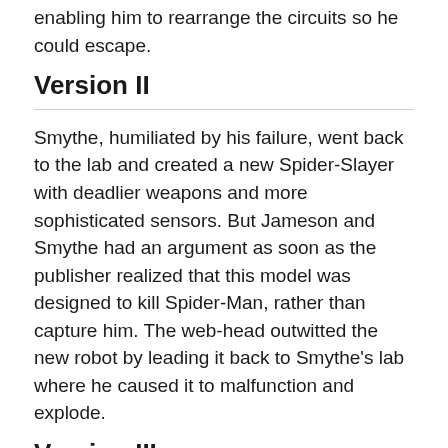enabling him to rearrange the circuits so he could escape.
Version II
Smythe, humiliated by his failure, went back to the lab and created a new Spider-Slayer with deadlier weapons and more sophisticated sensors. But Jameson and Smythe had an argument as soon as the publisher realized that this model was designed to kill Spider-Man, rather than capture him. The web-head outwitted the new robot by leading it back to Smythe's lab where he caused it to malfunction and explode.
Version III
By this point, Smythe thought that his previous two Spider-Slayers had failed because they were shaped like humans. So, he instead built a spider shaped Spider-Slayer rather than a human shaped one. Although it appeared that the